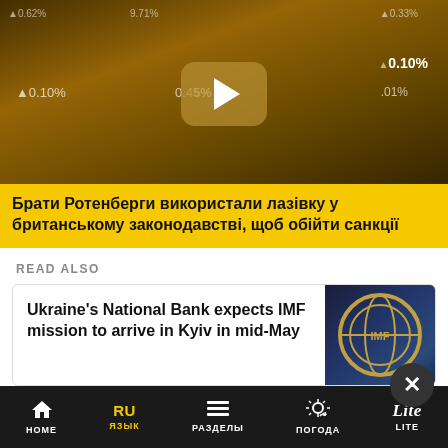[Figure (screenshot): Hero video screenshot showing financial data ticker overlay with city background and play button. Ticker values visible: 0.10%, 0.62%, 0.45%, 1.01%, 0.33%]
Брати Ротенберги використали лазівку у британському законодавстві, щоб обійти санкції
READ ALSO
Ukraine's National Bank expects IMF mission to arrive in Kyiv in mid-May
"We agreed that it is crucial to safeguard the
HOME  ЯЗЫК  РАЗДЕЛЫ  ПОГОДА  LITE